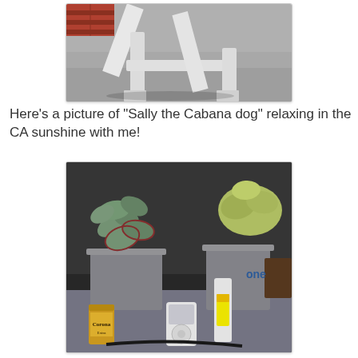[Figure (photo): Close-up photo of a white wooden chair or bench frame showing weathered white-painted wooden legs and cross-braces on a concrete surface]
Here's a picture of "Sally the Cabana dog" relaxing in the CA sunshine with me!
[Figure (photo): Photo of succulents in galvanized metal buckets on a table, with a Corona Extra can, an iPod, a bottle of spray product, and other items visible]